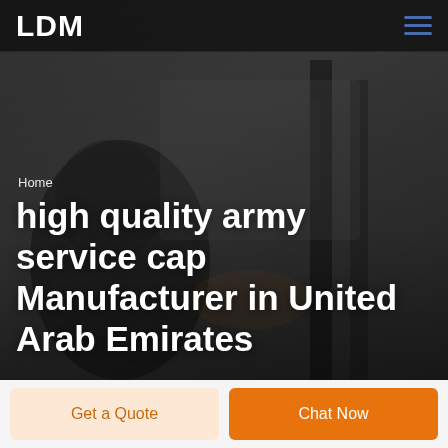LDM
[Figure (photo): Grayscale background photo of a person (soldier or worker) seen from behind/side, with blurred industrial or military background]
Home
high quality army service cap Manufacturer in United Arab Emirates
Get a Quote
Chat Now